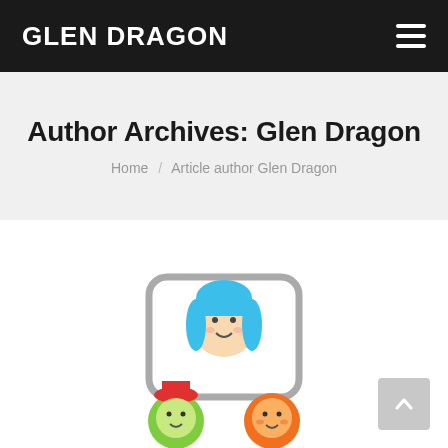GLEN DRAGON
Author Archives: Glen Dragon
Home / Article author Glen Dragon
[Figure (illustration): Colorful cartoon illustration showing three child faces: a blue-haired girl, a green character with a red hat, and an orange character, arranged around a rounded rectangle frame — part of a website article thumbnail.]